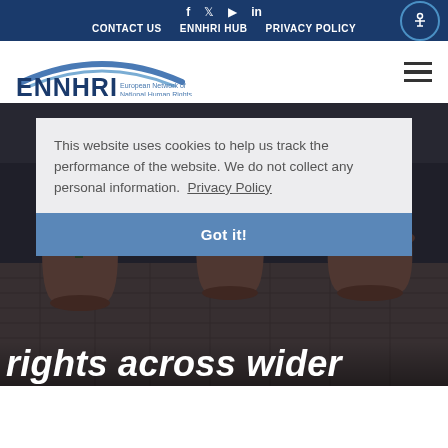f  twitter  youtube  in  CONTACT US  ENNHRI HUB  PRIVACY POLICY
[Figure (logo): ENNHRI logo with arc above text and subtitle 'European Network of National Human Rights Institutions']
[Figure (photo): Outdoor photo showing potted plants on a brick patio, darkened with overlay]
This website uses cookies to help us track the performance of the website. We do not collect any personal information.  Privacy Policy
Got it!
rights across wider